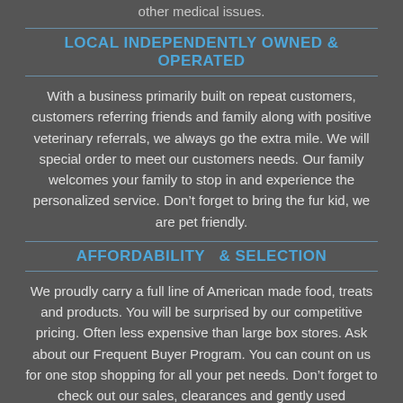other medical issues.
LOCAL INDEPENDENTLY OWNED & OPERATED
With a business primarily built on repeat customers, customers referring friends and family along with positive veterinary referrals, we always go the extra mile. We will special order to meet our customers needs. Our family welcomes your family to stop in and experience the personalized service. Don’t forget to bring the fur kid, we are pet friendly.
AFFORDABILITY  & SELECTION
We proudly carry a full line of American made food, treats and products. You will be surprised by our competitive pricing. Often less expensive than large box stores. Ask about our Frequent Buyer Program. You can count on us for one stop shopping for all your pet needs. Don’t forget to check out our sales, clearances and gently used